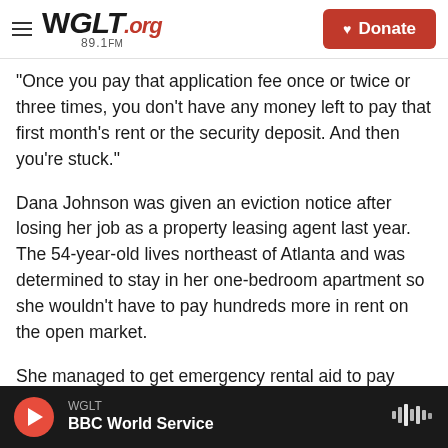WGLT.org 89.1FM | Donate
"Once you pay that application fee once or twice or three times, you don't have any money left to pay that first month's rent or the security deposit. And then you're stuck."
Dana Johnson was given an eviction notice after losing her job as a property leasing agent last year. The 54-year-old lives northeast of Atlanta and was determined to stay in her one-bedroom apartment so she wouldn't have to pay hundreds more in rent on the open market.
She managed to get emergency rental aid to pay
WGLT | BBC World Service